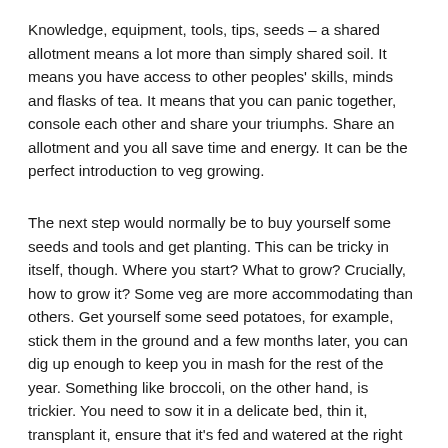Knowledge, equipment, tools, tips, seeds – a shared allotment means a lot more than simply shared soil. It means you have access to other peoples' skills, minds and flasks of tea. It means that you can panic together, console each other and share your triumphs. Share an allotment and you all save time and energy. It can be the perfect introduction to veg growing.
The next step would normally be to buy yourself some seeds and tools and get planting. This can be tricky in itself, though. Where you start? What to grow? Crucially, how to grow it? Some veg are more accommodating than others. Get yourself some seed potatoes, for example, stick them in the ground and a few months later, you can dig up enough to keep you in mash for the rest of the year. Something like broccoli, on the other hand, is trickier. You need to sow it in a delicate bed, thin it, transplant it, ensure that it's fed and watered at the right time... it takes a while to understand the rhythms of these plants, and what exactly to do with them.